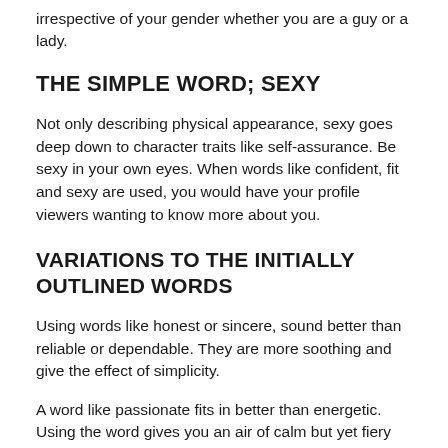irrespective of your gender whether you are a guy or a lady.
THE SIMPLE WORD; SEXY
Not only describing physical appearance, sexy goes deep down to character traits like self-assurance. Be sexy in your own eyes. When words like confident, fit and sexy are used, you would have your profile viewers wanting to know more about you.
VARIATIONS TO THE INITIALLY OUTLINED WORDS
Using words like honest or sincere, sound better than reliable or dependable. They are more soothing and give the effect of simplicity.
A word like passionate fits in better than energetic. Using the word gives you an air of calm but yet fiery tendencies. You are not going to slack when things start to get heated